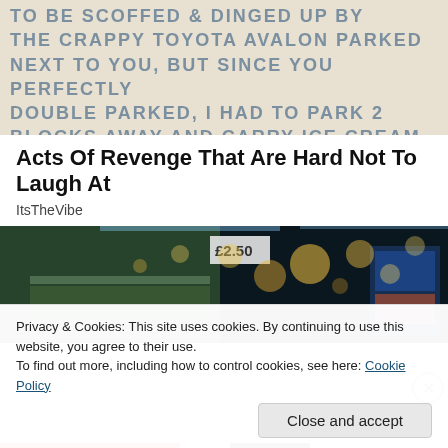[Figure (photo): Handwritten note on white paper with text about a double-parked car and ice cream, partially cropped]
Acts Of Revenge That Are Hard Not To Laugh At
ItsTheVibe
[Figure (photo): Blurry bokeh image of a store aisle or market with colorful lights and product shelves]
Privacy & Cookies: This site uses cookies. By continuing to use this website, you agree to their use.
To find out more, including how to control cookies, see here: Cookie Policy
Close and accept